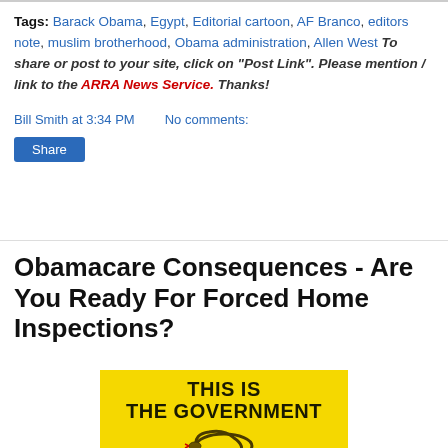Tags: Barack Obama, Egypt, Editorial cartoon, AF Branco, editors note, muslim brotherhood, Obama administration, Allen West  To share or post to your site, click on "Post Link". Please mention / link to the ARRA News Service. Thanks!
Bill Smith at 3:34 PM    No comments:
Share
Obamacare Consequences - Are You Ready For Forced Home Inspections?
[Figure (illustration): Yellow warning sign with text 'THIS IS THE GOVERNMENT' and a coiled rattlesnake illustration below]